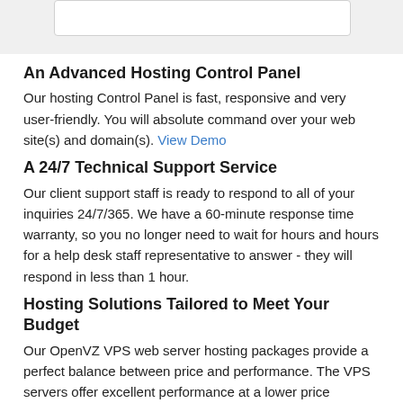An Advanced Hosting Control Panel
Our hosting Control Panel is fast, responsive and very user-friendly. You will absolute command over your web site(s) and domain(s). View Demo
A 24/7 Technical Support Service
Our client support staff is ready to respond to all of your inquiries 24/7/365. We have a 60-minute response time warranty, so you no longer need to wait for hours and hours for a help desk staff representative to answer - they will respond in less than 1 hour.
Hosting Solutions Tailored to Meet Your Budget
Our OpenVZ VPS web server hosting packages provide a perfect balance between price and performance. The VPS servers offer excellent performance at a lower price